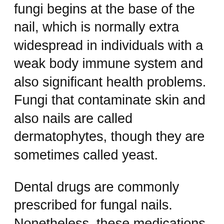fungi begins at the base of the nail, which is normally extra widespread in individuals with a weak body immune system and also significant health problems. Fungi that contaminate skin and also nails are called dermatophytes, though they are sometimes called yeast.
Dental drugs are commonly prescribed for fungal nails. Nonetheless, these medications can trigger liver damage as well as can damage your health and wellness. Oral therapy is typically not as reliable as topical therapies, and might take a few months to work. Topical medications might be a much better selection, but they are much less efficient. In addition to taking antifungal tablets, you can likewise look for specialist